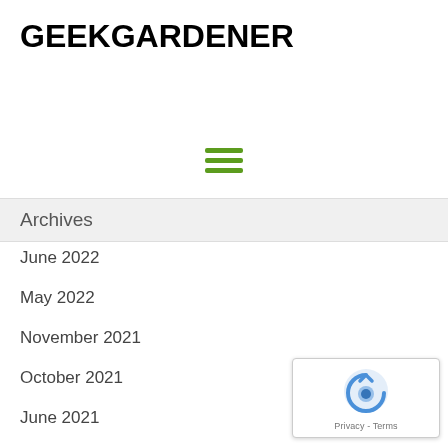GEEKGARDENER
[Figure (other): Hamburger menu icon with three green horizontal lines]
Archives
June 2022
May 2022
November 2021
October 2021
June 2021
May 2021
April 2020